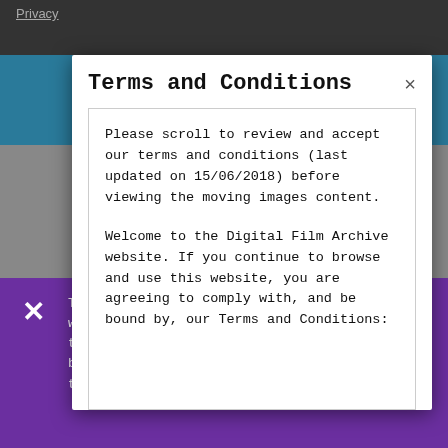Privacy
Terms and Conditions
Please scroll to review and accept our terms and conditions (last updated on 15/06/2018) before viewing the moving images content.
Welcome to the Digital Film Archive website. If you continue to browse and use this website, you are agreeing to comply with, and be bound by, our Terms and Conditions:
To give you the best possible experience, this website uses cookies. By continuing to use this website you are giving consent to cookies being used. For information on cookies and how to disable them visit our Privacy Policy.